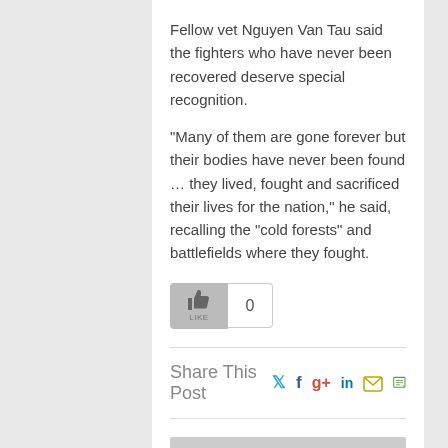Fellow vet Nguyen Van Tau said the fighters who have never been recovered deserve special recognition.
“Many of them are gone forever but their bodies have never been found … they lived, fought and sacrificed their lives for the nation,” he said, recalling the “cold forests” and battlefields where they fought.
[Figure (other): Like/thumbs-up button with count of 0]
Share This Post
[Figure (infographic): Social share icons: Twitter, Facebook, Google+, LinkedIn, Email, Print]
[Figure (other): Gray horizontal bar (advertisement or widget placeholder)]
RECENT REVIEWS